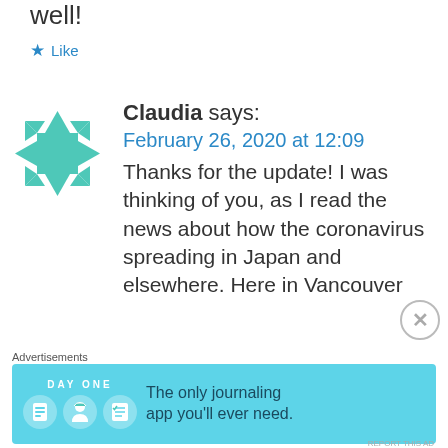well!
★ Like
[Figure (illustration): Teal/green geometric avatar icon made of triangles and a square forming a quilt-like pattern]
Claudia says:
February 26, 2020 at 12:09
Thanks for the update! I was thinking of you, as I read the news about how the coronavirus spreading in Japan and elsewhere. Here in Vancouver
Advertisements
[Figure (screenshot): Day One journaling app advertisement banner with teal background, icons and text 'The only journaling app you'll ever need.']